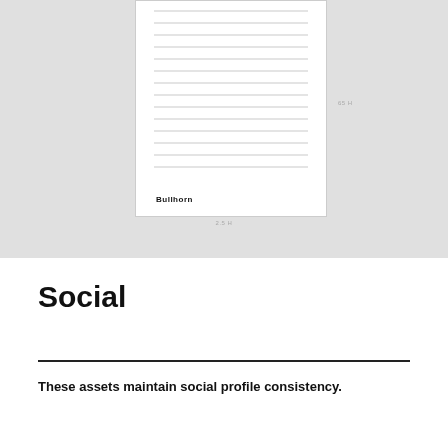[Figure (illustration): A white document/form with horizontal ruled lines and the Bullhorn brand name at the bottom, displayed against a light gray background. A small label appears to the right of the card and another small label appears below the card.]
Social
These assets maintain social profile consistency.